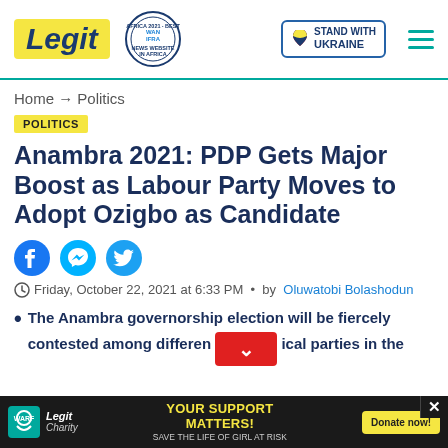Legit — WAN IFRA 2021 Best News Website in Africa — Stand With Ukraine
Home → Politics
POLITICS
Anambra 2021: PDP Gets Major Boost as Labour Party Moves to Adopt Ozigbo as Candidate
[Figure (infographic): Social sharing icons: Facebook, Messenger, Twitter]
Friday, October 22, 2021 at 6:33 PM • by Oluwatobi Bolashodun
The Anambra governorship election will be fiercely contested among different political parties in the
[Figure (infographic): Advertisement banner: Legit Charity — YOUR SUPPORT MATTERS! SAVE THE LIFE OF GIRL AT RISK — Donate now!]